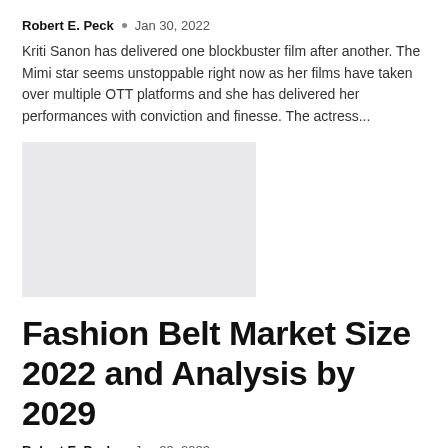Robert E. Peck • Jan 30, 2022
Kriti Sanon has delivered one blockbuster film after another. The Mimi star seems unstoppable right now as her films have taken over multiple OTT platforms and she has delivered her performances with conviction and finesse. The actress...
[Figure (photo): Gray placeholder image for an article about Kriti Sanon]
Fashion Belt Market Size 2022 and Analysis by 2029
Robert E. Peck • Jan 29, 2022
New Jersey, United States, -Market Research Intelligence has been